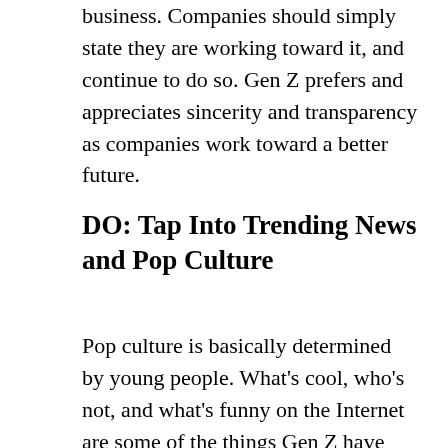business. Companies should simply state they are working toward it, and continue to do so. Gen Z prefers and appreciates sincerity and transparency as companies work toward a better future.
DO: Tap Into Trending News and Pop Culture
Pop culture is basically determined by young people. What's cool, who's not, and what's funny on the Internet are some of the things Gen Z have precedence over, as generations prior have also ruled during their adolescence. This is nothing new. Tapping into pop culture can be one of the easiest ways to appeal to the